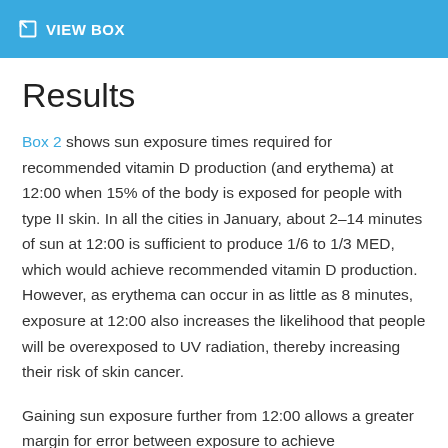VIEW BOX
Results
Box 2 shows sun exposure times required for recommended vitamin D production (and erythema) at 12:00 when 15% of the body is exposed for people with type II skin. In all the cities in January, about 2–14 minutes of sun at 12:00 is sufficient to produce 1/6 to 1/3 MED, which would achieve recommended vitamin D production. However, as erythema can occur in as little as 8 minutes, exposure at 12:00 also increases the likelihood that people will be overexposed to UV radiation, thereby increasing their risk of skin cancer.
Gaining sun exposure further from 12:00 allows a greater margin for error between exposure to achieve recommended vitamin D production and exposure